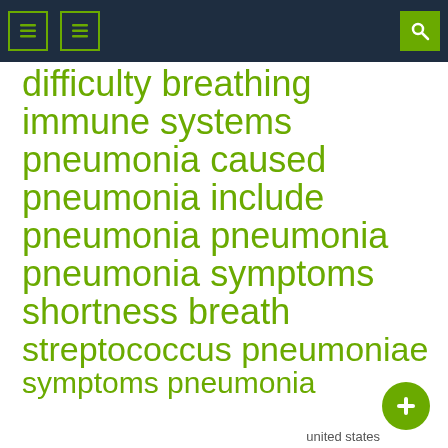Navigation bar with menu icons and search
difficulty breathing
immune systems
pneumonia caused
pneumonia include
pneumonia pneumonia
pneumonia symptoms
shortness breath
streptococcus pneumoniae
symptoms pneumonia
united states